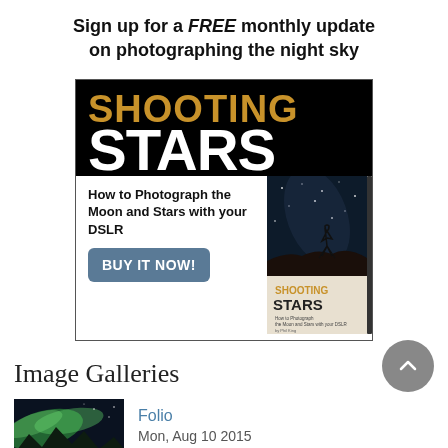Sign up for a FREE monthly update on photographing the night sky
[Figure (illustration): Advertisement for 'Shooting Stars' book — How to Photograph the Moon and Stars with your DSLR. Black background with gold SHOOTING and white STARS text, book cover image, and BUY IT NOW button.]
Image Galleries
[Figure (photo): Thumbnail photo showing green aurora borealis over dark mountain silhouettes]
Folio
Mon, Aug 10 2015